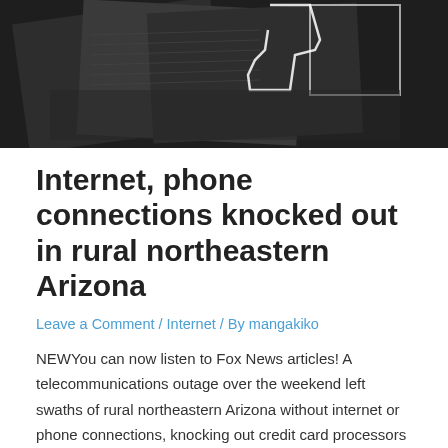[Figure (photo): Dark grayscale photo showing a map or state outline of Arizona with overlapping document/newspaper imagery in the background]
Internet, phone connections knocked out in rural northeastern Arizona
Leave a Comment / Internet / By mangakiko
NEWYou can now listen to Fox News articles! A telecommunications outage over the weekend left swaths of rural northeastern Arizona without internet or phone connections, knocking out credit card processors and, in some cases, easy access to emergency services. The outage caused by a sabotage of a Frontier Communications fiber line left local officials in …
Read More »